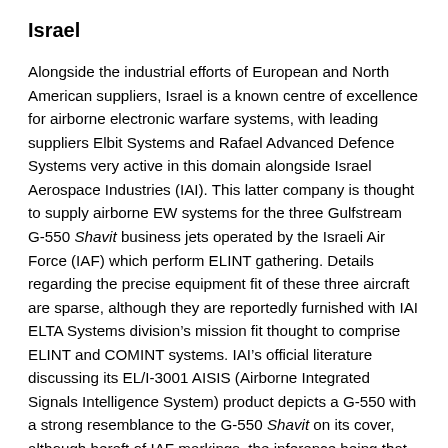Israel
Alongside the industrial efforts of European and North American suppliers, Israel is a known centre of excellence for airborne electronic warfare systems, with leading suppliers Elbit Systems and Rafael Advanced Defence Systems very active in this domain alongside Israel Aerospace Industries (IAI). This latter company is thought to supply airborne EW systems for the three Gulfstream G-550 Shavit business jets operated by the Israeli Air Force (IAF) which perform ELINT gathering. Details regarding the precise equipment fit of these three aircraft are sparse, although they are reportedly furnished with IAI ELTA Systems division’s mission fit thought to comprise ELINT and COMINT systems. IAI’s official literature discussing its EL/I-3001 AISIS (Airborne Integrated Signals Intelligence System) product depicts a G-550 with a strong resemblance to the G-550 Shavit on its cover, although bereft of IAF markings, the inference being that the G-550